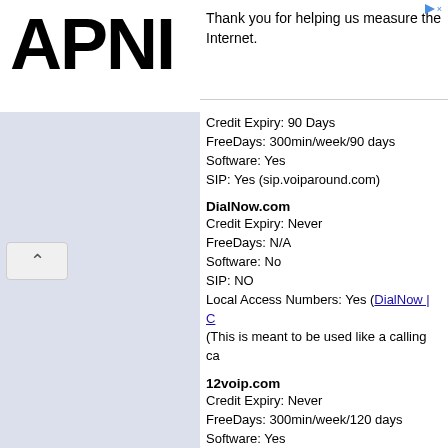[Figure (logo): APNIC logo in large bold black text]
Thank you for helping us measure the Internet.
Credit Expiry: 90 Days
FreeDays: 300min/week/90 days
Software: Yes
SIP: Yes (sip.voiparound.com)
DialNow.com
Credit Expiry: Never
FreeDays: N/A
Software: No
SIP: NO
Local Access Numbers: Yes (DialNow | C...
(This is meant to be used like a calling ca...
12voip.com
Credit Expiry: Never
FreeDays: 300min/week/120 days
Software: Yes
SIP: NO
(Reported billing problems)
IntenetCalls.com
Credit Expiry: Never
FreeDays: 300min/week/120 days
Software: Yes
SIP: YES (sip.internetcalls.com)